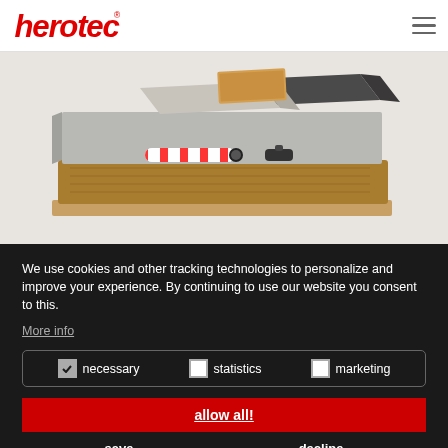herotec logo and navigation
[Figure (photo): 3D cross-section illustration of a floor heating system showing layers: concrete screed, insulation (mineral wool), piping with red/white and black components, and tile/stone floor covering on wooden pallet base]
We use cookies and other tracking technologies to personalize and improve your experience. By continuing to use our website you consent to this.
More info
necessary   statistics   marketing
allow all!
save   decline